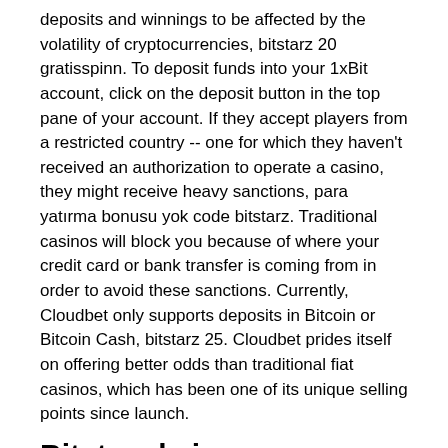deposits and winnings to be affected by the volatility of cryptocurrencies, bitstarz 20 gratisspinn. To deposit funds into your 1xBit account, click on the deposit button in the top pane of your account. If they accept players from a restricted country -- one for which they haven't received an authorization to operate a casino, they might receive heavy sanctions, para yatırma bonusu yok code bitstarz. Traditional casinos will block you because of where your credit card or bank transfer is coming from in order to avoid these sanctions. Currently, Cloudbet only supports deposits in Bitcoin or Bitcoin Cash, bitstarz 25. Cloudbet prides itself on offering better odds than traditional fiat casinos, which has been one of its unique selling points since launch.
Bitstarz kein einzahlungsbonus codes